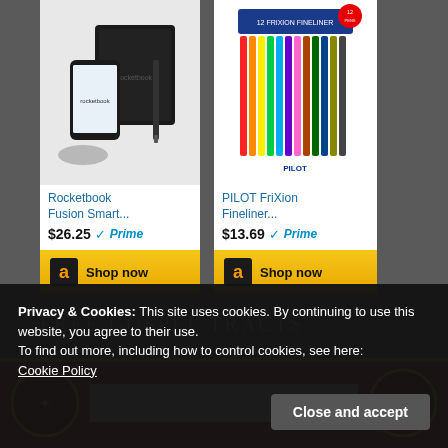[Figure (screenshot): Amazon product card for Rocketbook Fusion Smart showing product image (notebook with phone), title 'Rocketbook Fusion Smart...', price '$26.25', Prime badge, and 'Shop now' button]
[Figure (screenshot): Amazon product card for PILOT FriXion Fineliner showing product image (12 colorful pens), title 'PILOT FriXion Fineliner...', price '$13.69', Prime badge, and 'Shop now' button]
FREE GOSPEL TRACTS
[Figure (screenshot): Partial red banner with yellow border and circular emblems on left and right sides, partially visible at bottom of screen before cookie overlay]
Privacy & Cookies: This site uses cookies. By continuing to use this website, you agree to their use.
To find out more, including how to control cookies, see here:
Cookie Policy
Close and accept